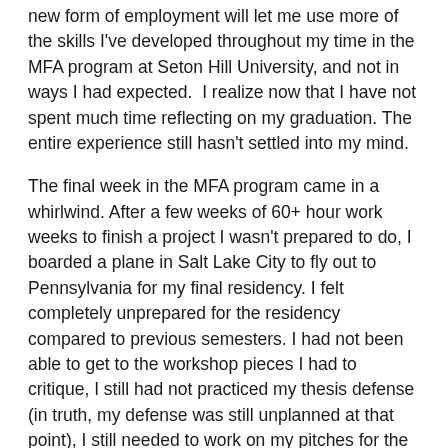new form of employment will let me use more of the skills I've developed throughout my time in the MFA program at Seton Hill University, and not in ways I had expected.  I realize now that I have not spent much time reflecting on my graduation. The entire experience still hasn't settled into my mind.
The final week in the MFA program came in a whirlwind. After a few weeks of 60+ hour work weeks to finish a project I wasn't prepared to do, I boarded a plane in Salt Lake City to fly out to Pennsylvania for my final residency. I felt completely unprepared for the residency compared to previous semesters. I had not been able to get to the workshop pieces I had to critique, I still had not practiced my thesis defense (in truth, my defense was still unplanned at that point), I still needed to work on my pitches for the visiting editor, and I was nominated to give the commencement address at the end of the week. While I prided myself in keeping the last a secret from my wife and family, my anxiety was reaching high points. However, if I have learned nothing else from salary employment, it is